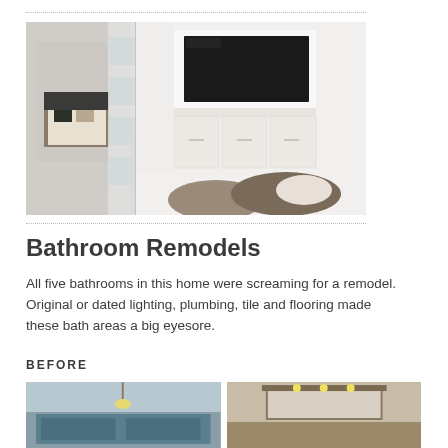[Figure (photo): Interior room photo showing a white built-in wall unit with a flat-screen TV mounted above shelving/cabinet drawers, a sliding frosted-glass panel door on the left revealing a bedroom with a bed, and gray carpet flooring with what appear to be decorative pillows in the foreground.]
Bathroom Remodels
All five bathrooms in this home were screaming for a remodel.  Original or dated lighting, plumbing, tile and flooring made these bath areas a big eyesore.
BEFORE
[Figure (photo): Before photo of a bathroom showing dated blue/teal cabinetry and a hanging light fixture.]
[Figure (photo): Before photo of a bathroom showing dated wood trim, mirror, and a light fixture.]